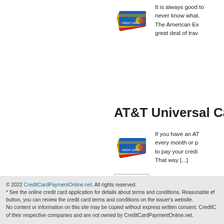[Figure (illustration): Stack of credit cards (blue, yellow, red) illustration]
It is always good to never know what. The American Ex great deal of trav
AT&T Universal Card C
[Figure (illustration): Stack of credit cards (blue, yellow, red) illustration]
If you have an AT every month or p to pay your credi That way [...]
Page 1 of 7   1  2  3  4  5  ...  7
© 2022 CreditCardPaymentOnline.net. All rights reserved. * See the online credit card application for details about terms and conditions. Reasonable ef button, you can review the credit card terms and conditions on the issuer's website. No content or information on this site may be copied without express written consent. CreditC of their respective companies and are not owned by CreditCardPaymentOnline.net.